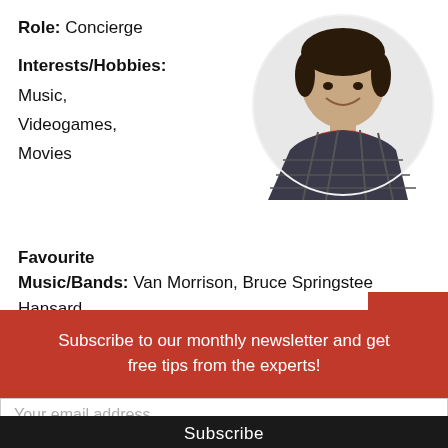Role: Concierge
[Figure (photo): Circular profile photo of a young man with dark hair wearing a plaid shirt over a red t-shirt, smiling, on a light background.]
Interests/Hobbies: Music, Videogames, Movies
Favourite Music/Bands: Van Morrison, Bruce Springsteen, Hansard
Subscribe to our monthly newsletter and get free tips from the experts!
Your email address..
Subscribe